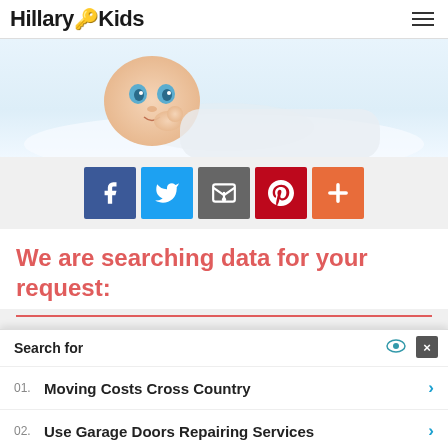Hillary Kids
[Figure (photo): Close-up photo of a blue-eyed baby lying on its stomach, looking at the camera with hands near face]
[Figure (infographic): Social sharing buttons: Facebook (dark blue), Twitter (light blue), Email (grey), Pinterest (dark red), Add/Plus (orange)]
We are searching data for your request:
Search for
01. Moving Costs Cross Country
02. Use Garage Doors Repairing Services
Yahoo! Search | Sponsored